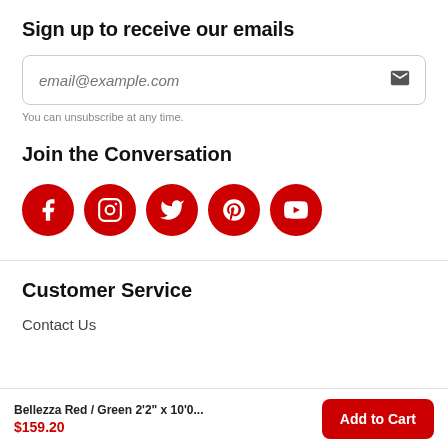Sign up to receive our emails
[Figure (other): Email input field with placeholder 'email@example.com' and mail icon]
You can unsubscribe at any time.
Join the Conversation
[Figure (infographic): Five red circular social media icons: Facebook, Instagram, Twitter, Pinterest, YouTube]
Customer Service
Contact Us
Bellezza Red / Green 2'2" x 10'0... $159.20  Add to Cart